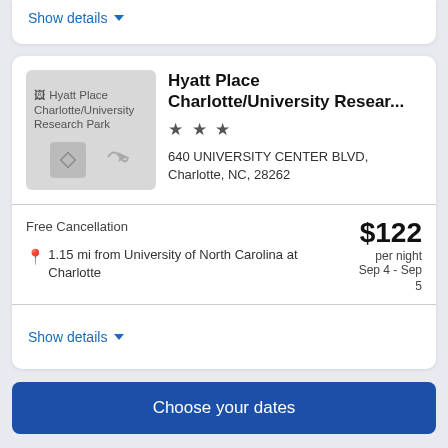Show details
[Figure (screenshot): Hotel thumbnail image placeholder for Hyatt Place Charlotte/University Research Park, showing broken image icon text and travel icons on gray background]
Hyatt Place Charlotte/University Resear...
★ ★ ★
640 UNIVERSITY CENTER BLVD, Charlotte, NC, 28262
Free Cancellation
1.15 mi from University of North Carolina at Charlotte
$122 per night Sep 4 - Sep 5
Show details
Choose your dates